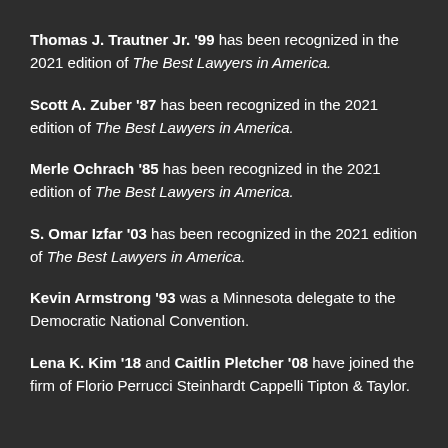Thomas J. Trautner Jr. '99 has been recognized in the 2021 edition of The Best Lawyers in America.
Scott A. Zuber '87 has been recognized in the 2021 edition of The Best Lawyers in America.
Merle Ochrach '85 has been recognized in the 2021 edition of The Best Lawyers in America.
S. Omar Izfar '03 has been recognized in the 2021 edition of The Best Lawyers in America.
Kevin Armstrong '93 was a Minnesota delegate to the Democratic National Convention.
Lena K. Kim '18 and Caitlin Pletcher '08 have joined the firm of Florio Perrucci Steinhardt Cappelli Tipton & Taylor.